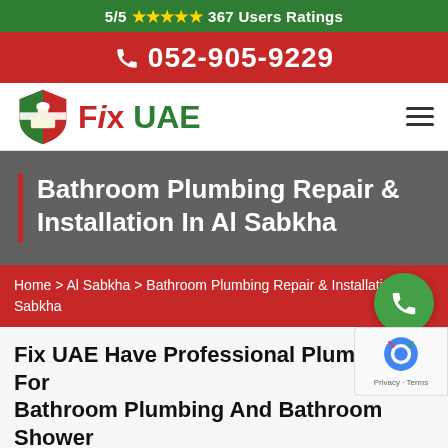5/5 ★★★★★ 367 Users Ratings
📞 052-905-9229
[Figure (logo): Fix UAE logo with shield emblem and text 'Fix UAE' in red and green]
Bathroom Plumbing Repair & Installation In Al Sabkha
Home > Al Sabkha > Bathroom Plumbing Repair & Installation Al Sabkha
Fix UAE Have Professional Plumbers For Bathroom Plumbing And Bathroom Shower